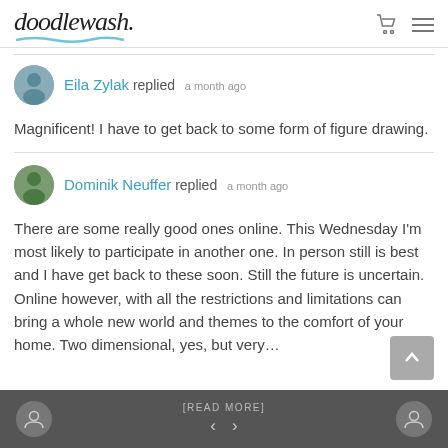doodlewash.
Eila Zylak replied a month ago
Magnificent! I have to get back to some form of figure drawing.
Dominik Neuffer replied a month ago
There are some really good ones online. This Wednesday I'm most likely to participate in another one. In person still is best and I have get back to these soon. Still the future is uncertain. Online however, with all the restrictions and limitations can bring a whole new world and themes to the comfort of your home. Two dimensional, yes, but very…
[READ MORE] < >